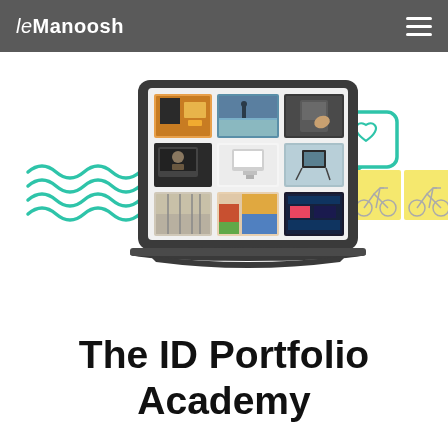leManoosh
[Figure (screenshot): A laptop screen displaying a portfolio website grid with 9 thumbnail images of design projects. Decorative elements surround the laptop: teal/mint wave lines on the left, a teal speech bubble with heart icon on the upper right, and two yellow sticky notes with bicycle sketches on the lower right.]
The ID Portfolio Academy